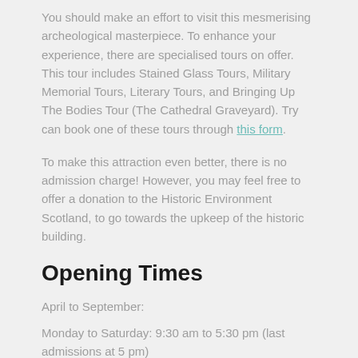You should make an effort to visit this mesmerising archeological masterpiece. To enhance your experience, there are specialised tours on offer. This tour includes Stained Glass Tours, Military Memorial Tours, Literary Tours, and Bringing Up The Bodies Tour (The Cathedral Graveyard). Try can book one of these tours through this form.
To make this attraction even better, there is no admission charge! However, you may feel free to offer a donation to the Historic Environment Scotland, to go towards the upkeep of the historic building.
Opening Times
April to September:
Monday to Saturday: 9:30 am to 5:30 pm (last admissions at 5 pm)
Sunday: 1 pm to 3:30 pm